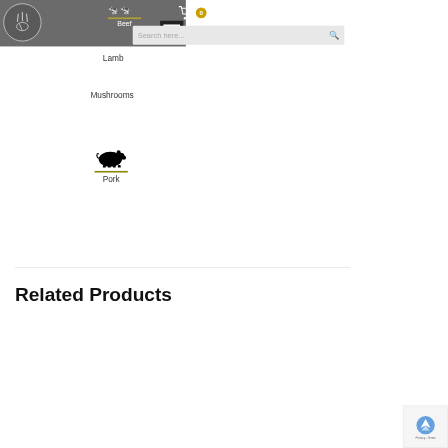Beef | Login/Register | Search here...
Lamb
Mushrooms
[Figure (illustration): Black silhouette of a pig icon above a gold/olive horizontal bar]
Pork
Related Products